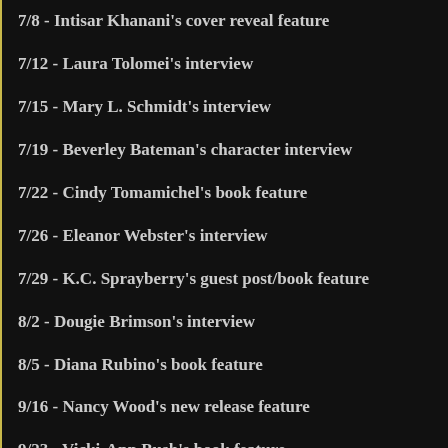7/8 - Intisar Khanani's cover reveal feature
7/12 - Laura Tolomei's interview
7/15 - Mary L. Schmidt's interview
7/19 - Beverley Bateman's character interview
7/22 - Cindy Tomamichel's book feature
7/26 - Eleanor Webster's interview
7/29 - K.C. Sprayberry's guest post/book feature
8/2 - Dougie Brimson's interview
8/5 - Diana Rubino's book feature
9/16 - Nancy Wood's new release feature
9/23 - Vicki-Ann Bush's book feature
9/27 - Re:Fiction's guest post
9/30 - "The Pros and Cons of Traditional Publishing" by Marie Lavender